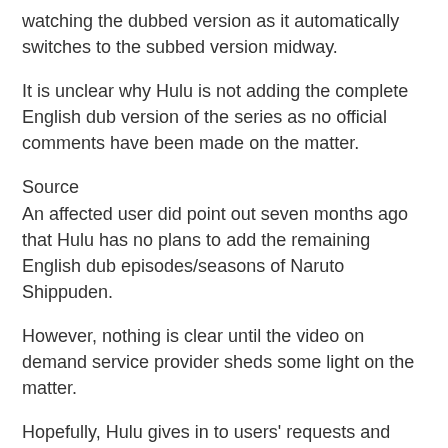watching the dubbed version as it automatically switches to the subbed version midway.
It is unclear why Hulu is not adding the complete English dub version of the series as no official comments have been made on the matter.
Source
An affected user did point out seven months ago that Hulu has no plans to add the remaining English dub episodes/seasons of Naruto Shippuden.
However, nothing is clear until the video on demand service provider sheds some light on the matter.
Hopefully, Hulu gives in to users' requests and provides them with the complete English dub version of the popular anime series.
Source
That said, we will report back with more details as